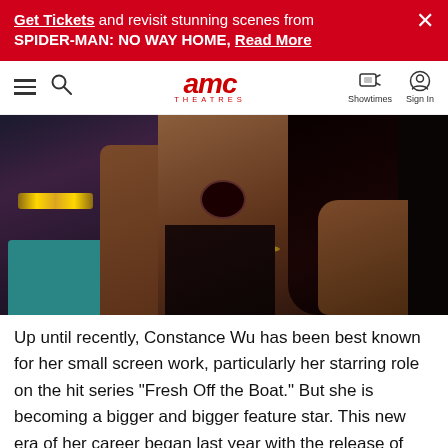Get Tickets and revisit stunning scenes from SPIDER-MAN: NO WAY HOME, Read More
[Figure (illustration): AMC Theatres website navigation bar with hamburger menu, search icon, AMC Theatres logo in red, Showtimes and Sign In icons]
[Figure (photo): Scene from the movie Hustlers showing two women, one in a teal top with a gold necklace, and another woman with long dark hair laughing with mouth open, wearing a gold necklace and dark outfit]
Up until recently, Constance Wu has been best known for her small screen work, particularly her starring role on the hit series “Fresh Off the Boat.” But she is becoming a bigger and bigger feature star. This new era of her career began last year with the release of CRAZY RICH ASIANS, and she will soon be seen as Destiny, the protagonist of HUSTLERS, who is a rookie stripper